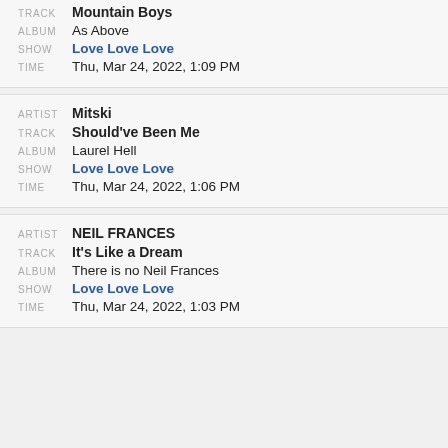TRACK: Mountain Boys | ALBUM: As Above | SHOW: Love Love Love | TIME: Thu, Mar 24, 2022, 1:09 PM
ARTIST: Mitski | TRACK: Should've Been Me | ALBUM: Laurel Hell | SHOW: Love Love Love | TIME: Thu, Mar 24, 2022, 1:06 PM
ARTIST: NEIL FRANCES | TRACK: It's Like a Dream | ALBUM: There is no Neil Frances | SHOW: Love Love Love | TIME: Thu, Mar 24, 2022, 1:03 PM